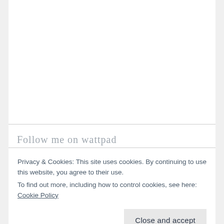Follow me on wattpad
Privacy & Cookies: This site uses cookies. By continuing to use this website, you agree to their use.
To find out more, including how to control cookies, see here: Cookie Policy
Close and accept